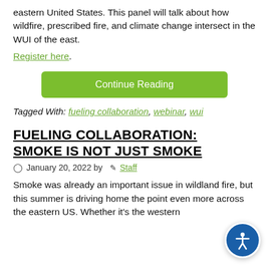eastern United States. This panel will talk about how wildfire, prescribed fire, and climate change intersect in the WUI of the east.
Register here.
Continue Reading
Tagged With: fueling collaboration, webinar, wui
FUELING COLLABORATION: SMOKE IS NOT JUST SMOKE
January 20, 2022 by Staff
Smoke was already an important issue in wildland fire, but this summer is driving home the point even more across the eastern US. Whether it's the western